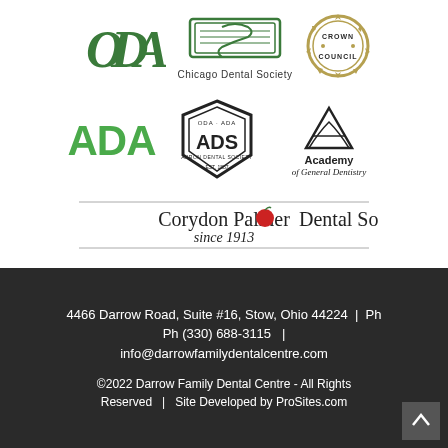[Figure (logo): ODA logo (green), Chicago Dental Society logo (green badge), Crown Council seal (gold/black)]
[Figure (logo): ADA logo (green text), ADS Akron Dental Society hexagon seal (black), Academy of General Dentistry logo (black)]
[Figure (logo): Corydon Palmer Dental Society since 1913 logo with apple icon]
4466 Darrow Road, Suite #16, Stow, Ohio 44224  |  Ph Ph (330) 688-3115  |  info@darrowfamilydentalcentre.com
©2022 Darrow Family Dental Centre - All Rights Reserved   |   Site Developed by ProSites.com